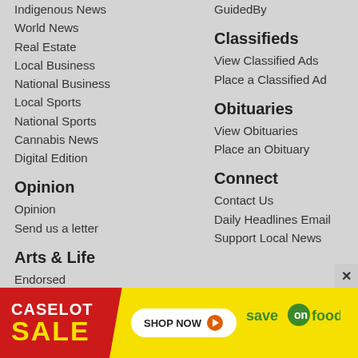Indigenous News
World News
Real Estate
Local Business
National Business
Local Sports
National Sports
Cannabis News
Digital Edition
Opinion
Opinion
Send us a letter
Arts & Life
Endorsed
Local Arts
Living
Photos and Videos
Atomotivе
Consumer Technology
Health
GuidedBy
Classifieds
View Classified Ads
Place a Classified Ad
Obituaries
View Obituaries
Place an Obituary
Connect
Contact Us
Daily Headlines Email
Support Local News
[Figure (infographic): Caselot Sale advertisement banner for Save On Foods with red and yellow colors, Shop Now button]